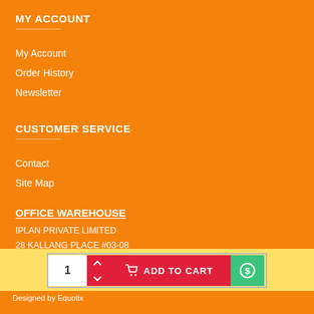MY ACCOUNT
My Account
Order History
Newsletter
CUSTOMER SERVICE
Contact
Site Map
OFFICE WAREHOUSE
IPLAN PRIVATE LIMITED
28 KALLANG PLACE #03-08
SINGAPORE 339158
TEL: +65 6514 5560
1  ADD TO CART
Designed by Equotix